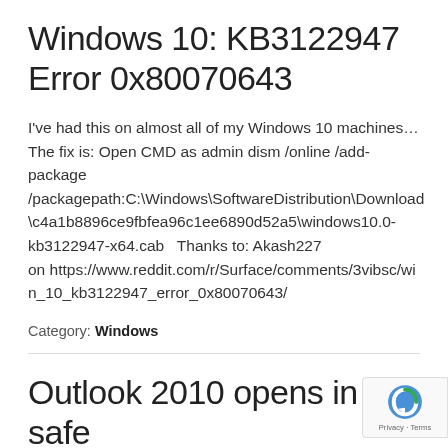Windows 10: KB3122947 Error 0x80070643
I've had this on almost all of my Windows 10 machines… The fix is: Open CMD as admin dism /online /add-package /packagepath:C:\Windows\SoftwareDistribution\Download\c4a1b8896ce9fbfea96c1ee6890d52a5\windows10.0-kb3122947-x64.cab   Thanks to: Akash227 on https://www.reddit.com/r/Surface/comments/3vibsc/win_10_kb3122947_error_0x80070643/
Category: Windows
Outlook 2010 opens in safe mode only